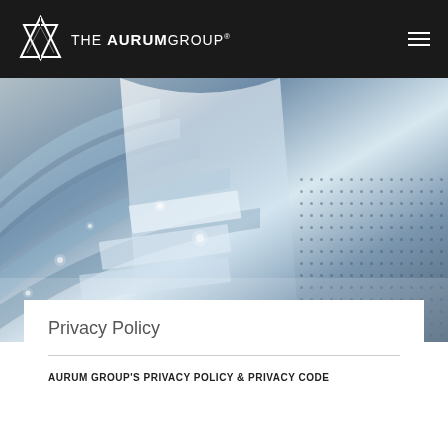THE AURUM GROUP®
[Figure (photo): Abstract technology background with blue and grey tones, featuring geometric shapes, light streaks, and dot patterns suggesting a digital or data network theme.]
Privacy Policy
AURUM GROUP'S PRIVACY POLICY & PRIVACY CODE